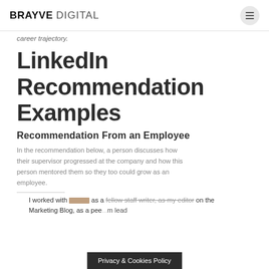BRAYVE DIGITAL
career trajectory.
LinkedIn Recommendation Examples
Recommendation From an Employee
In the recommendation below, a person discusses how their supervisor progressed at the company and how this person mentored them so they too could grow as an employee.
I worked with [redacted] as a fellow staff writer, as my editor on the Marketing Blog, as a peer... m lead
Privacy & Cookies Policy